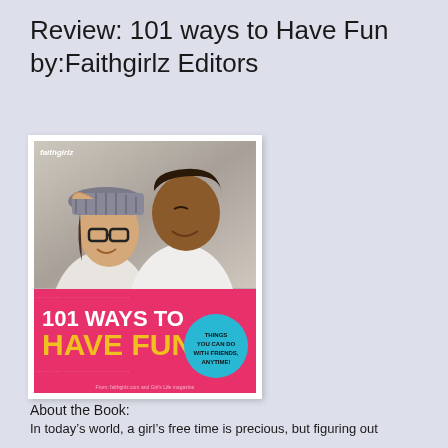Review: 101 ways to Have Fun by:Faithgirlz Editors
[Figure (photo): Book cover of '101 Ways to Have Fun' by Faithgirlz Editors, showing two teenage girls laughing together on the top half, with a pink banner at the bottom displaying the title '101 WAYS TO HAVE FUN' in white and yellow text, and a teal bubble saying 'Things you can do with friends, anytime!']
About the Book:
In today's world, a girl's free time is precious, but figuring out how to make the most of those spare moments can sometimes be